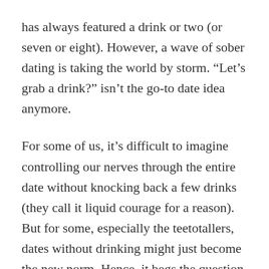has always featured a drink or two (or seven or eight). However, a wave of sober dating is taking the world by storm. “Let’s grab a drink?” isn’t the go-to date idea anymore.
For some of us, it’s difficult to imagine controlling our nerves through the entire date without knocking back a few drinks (they call it liquid courage for a reason). But for some, especially the teetotallers, dates without drinking might just become the new norm. Hence, it begs the question. What’s better: downing a few glasses of wine or making sure you keep your back straight and your